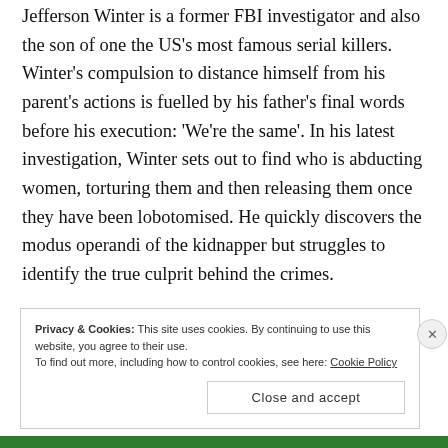Jefferson Winter is a former FBI investigator and also the son of one the US's most famous serial killers. Winter's compulsion to distance himself from his parent's actions is fuelled by his father's final words before his execution: 'We're the same'. In his latest investigation, Winter sets out to find who is abducting women, torturing them and then releasing them once they have been lobotomised. He quickly discovers the modus operandi of the kidnapper but struggles to identify the true culprit behind the crimes.
Privacy & Cookies: This site uses cookies. By continuing to use this website, you agree to their use. To find out more, including how to control cookies, see here: Cookie Policy
Close and accept